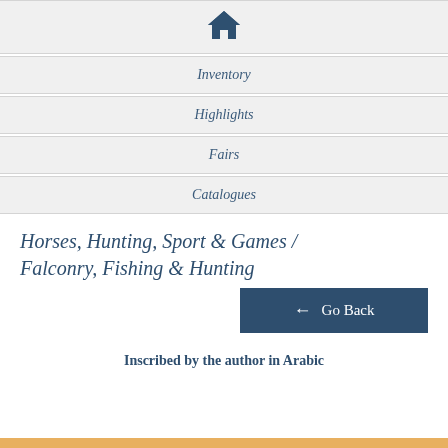[Figure (illustration): Home icon (house silhouette) in dark blue, centered in a light grey navigation row]
Inventory
Highlights
Fairs
Catalogues
Horses, Hunting, Sport & Games / Falconry, Fishing & Hunting
Go Back
Inscribed by the author in Arabic